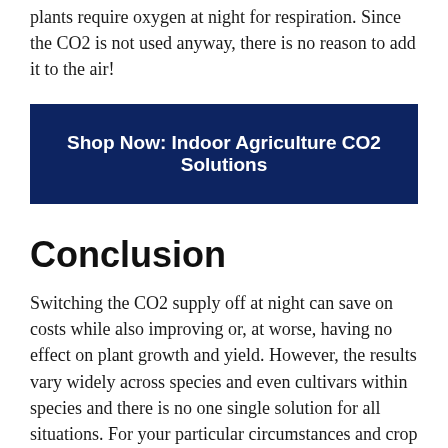plants require oxygen at night for respiration. Since the CO2 is not used anyway, there is no reason to add it to the air!
[Figure (other): Dark navy blue call-to-action button with white bold text reading 'Shop Now: Indoor Agriculture CO2 Solutions']
Conclusion
Switching the CO2 supply off at night can save on costs while also improving or, at worse, having no effect on plant growth and yield. However, the results vary widely across species and even cultivars within species and there is no one single solution for all situations. For your particular circumstances and crop you may consider